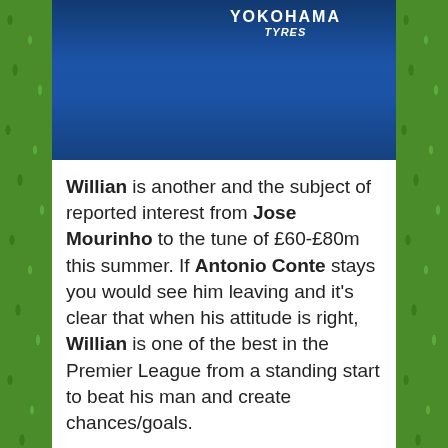[Figure (photo): Chelsea footballer in blue Yokohama Tyres jersey, visible from chest up, crowd in background]
Willian is another and the subject of reported interest from Jose Mourinho to the tune of £60-£80m this summer. If Antonio Conte stays you would see him leaving and it's clear that when his attitude is right, Willian is one of the best in the Premier League from a standing start to beat his man and create chances/goals.
I say about his attitude because for me, in those final months of the season when it was clear that he was frustrated with Conte, he spent more time on the pitch moaning and waving his arms about at the Referee rather than focus on his qualities and at times it cost us. If he stays, we need him back on form.